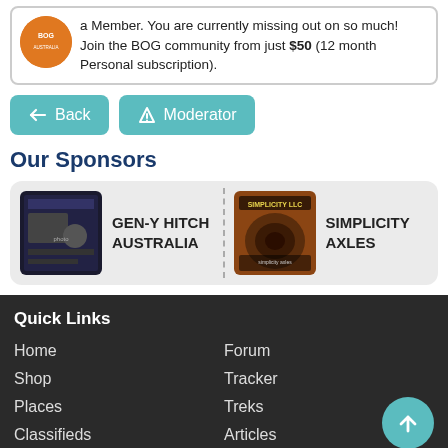a Member. You are currently missing out on so much! Join the BOG community from just $50 (12 month Personal subscription).
Back
Moderator
Our Sponsors
[Figure (other): Sponsors carousel with GEN-Y HITCH AUSTRALIA and SIMPLICITY AXLES]
Quick Links
Home
Forum
Shop
Tracker
Places
Treks
Classifieds
Articles